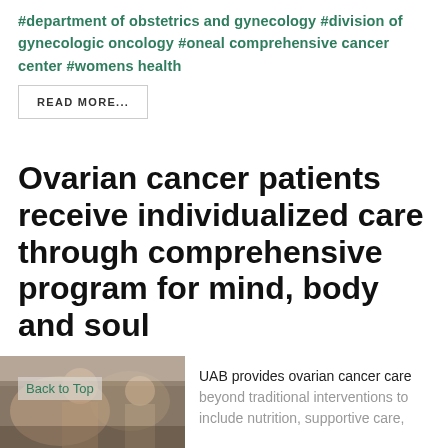#department of obstetrics and gynecology  #division of gynecologic oncology  #oneal comprehensive cancer center  #womens health
READ MORE...
Ovarian cancer patients receive individualized care through comprehensive program for mind, body and soul
[Figure (photo): Photo of ovarian cancer patients or healthcare setting]
UAB provides ovarian cancer care beyond traditional interventions to include nutrition, supportive care,
Back to Top